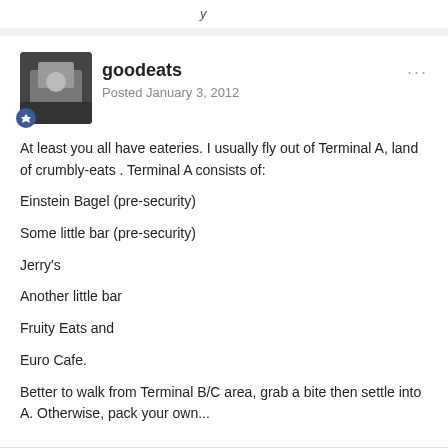y
[Figure (photo): Avatar image of user goodeats, small square photo with dark background]
goodeats
Posted January 3, 2012
At least you all have eateries. I usually fly out of Terminal A, land of crumbly-eats . Terminal A consists of:
Einstein Bagel (pre-security)
Some little bar (pre-security)
Jerry's
Another little bar
Fruity Eats and
Euro Cafe.
Better to walk from Terminal B/C area, grab a bite then settle into A. Otherwise, pack your own...